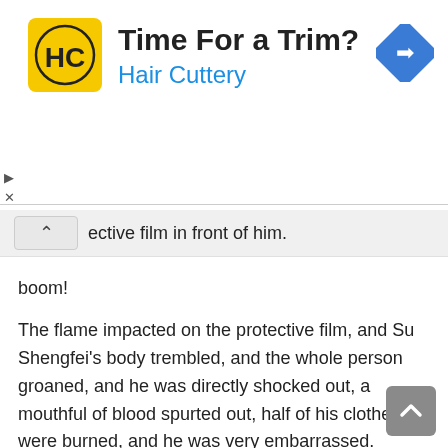[Figure (infographic): Hair Cuttery advertisement banner with yellow square logo featuring HC text, headline 'Time For a Trim?', subtitle 'Hair Cuttery' in blue, and a blue diamond navigation icon on the right]
ective film in front of him.
boom!
The flame impacted on the protective film, and Su Shengfei's body trembled, and the whole person groaned, and he was directly shocked out, a mouthful of blood spurted out, half of his clothes were burned, and he was very embarrassed.
hiss!
Seeing this scene, everyone present was taken